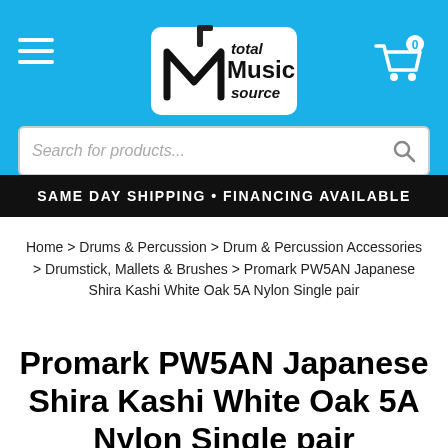[Figure (logo): Total Music Source logo with stylized M and text 'total Music source']
Search for products...
SAME DAY SHIPPING • FINANCING AVAILABLE
Home > Drums & Percussion > Drum & Percussion Accessories > Drumstick, Mallets & Brushes > Promark PW5AN Japanese Shira Kashi White Oak 5A Nylon Single pair
Promark PW5AN Japanese Shira Kashi White Oak 5A Nylon Single pair